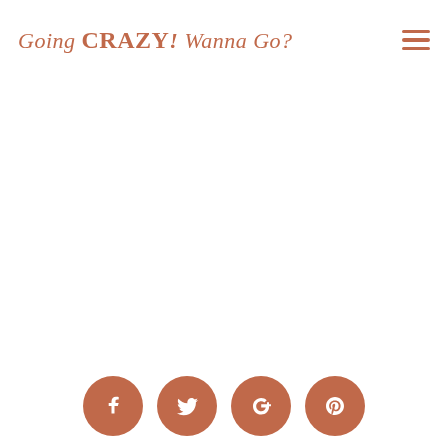Going CRAZY! Wanna Go?
[Figure (illustration): Four social media icon circles (Facebook, Twitter, Google+, Pinterest) in terracotta/orange-brown color at the bottom of the page]